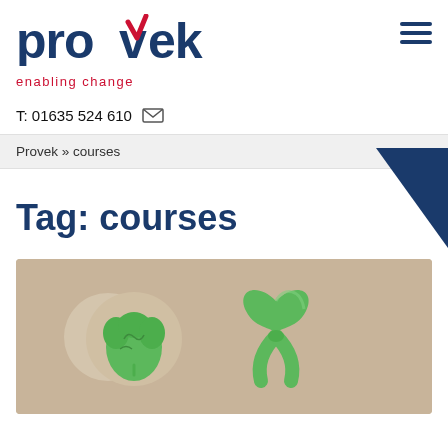[Figure (logo): Provek logo with 'enabling change' tagline in red]
T: 01635 524 610
Provek » courses
Tag: courses
[Figure (photo): Photo of a green paper brain cutout on a circular wooden base and a green awareness ribbon, both on a cardboard/kraft paper background]